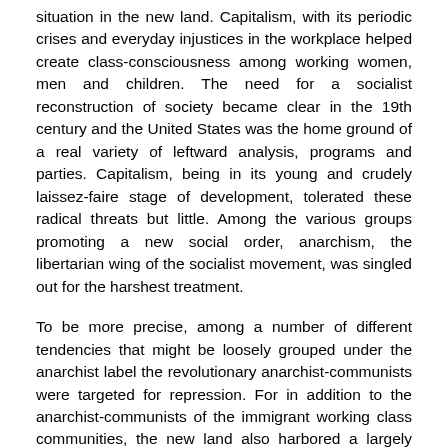situation in the new land. Capitalism, with its periodic crises and everyday injustices in the workplace helped create class-consciousness among working women, men and children. The need for a socialist reconstruction of society became clear in the 19th century and the United States was the home ground of a real variety of leftward analysis, programs and parties. Capitalism, being in its young and crudely laissez-faire stage of development, tolerated these radical threats but little. Among the various groups promoting a new social order, anarchism, the libertarian wing of the socialist movement, was singled out for the harshest treatment.
To be more precise, among a number of different tendencies that might be loosely grouped under the anarchist label the revolutionary anarchist-communists were targeted for repression. For in addition to the anarchist-communists of the immigrant working class communities, the new land also harbored a largely native born group of libertarians such as Josiah Warren and Lysander Spooner which might be called individualist anarchist. The individualists were mainly content with isolated utopian communities, monetary reform and peaceful propagandizing. The mainstream anarchist movement, however, was anarchist-communist along the lines outlined by Bakunin and Kropotkin. In the U.S. this mainstream tendency was important both numerically